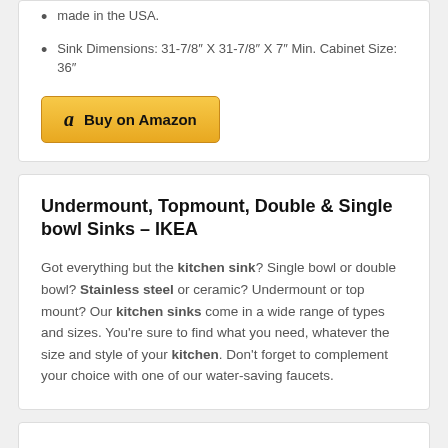made in the USA.
Sink Dimensions: 31-7/8″ X 31-7/8″ X 7″ Min. Cabinet Size: 36″
[Figure (other): Buy on Amazon button with Amazon logo]
Undermount, Topmount, Double & Single bowl Sinks – IKEA
Got everything but the kitchen sink? Single bowl or double bowl? Stainless steel or ceramic? Undermount or top mount? Our kitchen sinks come in a wide range of types and sizes. You're sure to find what you need, whatever the size and style of your kitchen. Don't forget to complement your choice with one of our water-saving faucets.